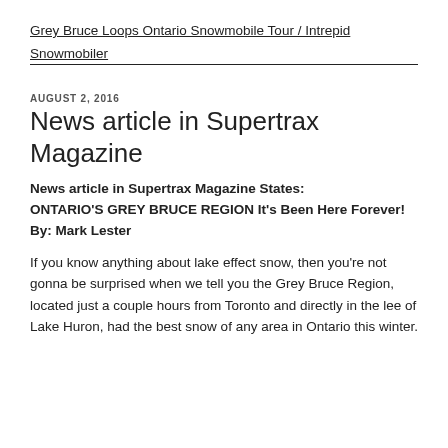Grey Bruce Loops Ontario Snowmobile Tour / Intrepid Snowmobiler
AUGUST 2, 2016
News article in Supertrax Magazine
News article in Supertrax Magazine States: ONTARIO'S GREY BRUCE REGION  It's Been Here Forever!
By: Mark Lester
If you know anything about lake effect snow, then you're not gonna be surprised when we tell you the Grey Bruce Region, located just a couple hours from Toronto and directly in the lee of Lake Huron, had the best snow of any area in Ontario this winter.